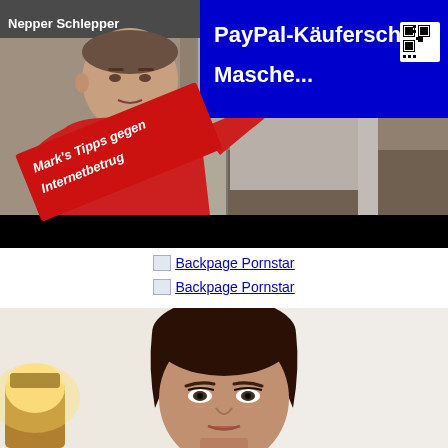[Figure (screenshot): Video thumbnail showing a man in a red and white shirt in a parking garage, with a blue overlay box containing text 'PayPal-Käuferschutz Masche...', a red diagonal banner reading 'Mark's Tipps gegen Internetbetrug', and 'Nepper Schlepper' text in the top left. A QR code is visible on the right side. The bottom has a black bar.]
Backpage Pornstar
Backpage Pornstar
[Figure (photo): Photo of a young woman with dark brown hair pulled up, looking at the camera with a neutral expression. A lamp is visible on the lower left, and a white wall is in the background.]